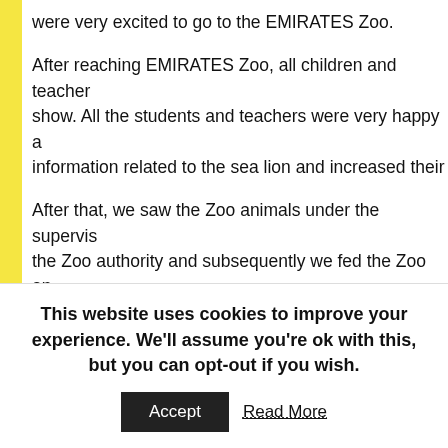were very excited to go to the EMIRATES Zoo.

After reaching EMIRATES Zoo, all children and teachers watched a show. All the students and teachers were very happy and gathered information related to the sea lion and increased their

After that, we saw the Zoo animals under the supervision of the Zoo authority and subsequently we fed the Zoo animals. At that time children were started jumping with happiness and were kind to the animals. Also Children were grasping information about different animals.

Field trips are important to help bridge the gap between experience. The purpose was to explore new directions and students to see things in new ways.
This website uses cookies to improve your experience. We'll assume you're ok with this, but you can opt-out if you wish.